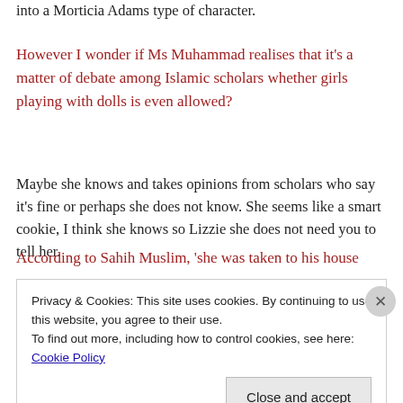into a Morticia Adams type of character.
However I wonder if Ms Muhammad realises that it's a matter of debate among Islamic scholars whether girls playing with dolls is even allowed?
Maybe she knows and takes opinions from scholars who say it's fine or perhaps she does not know. She seems like a smart cookie, I think she knows so Lizzie she does not need you to tell her.
According to Sahih Muslim, 'she was taken to his house
Privacy & Cookies: This site uses cookies. By continuing to use this website, you agree to their use.
To find out more, including how to control cookies, see here: Cookie Policy
Close and accept